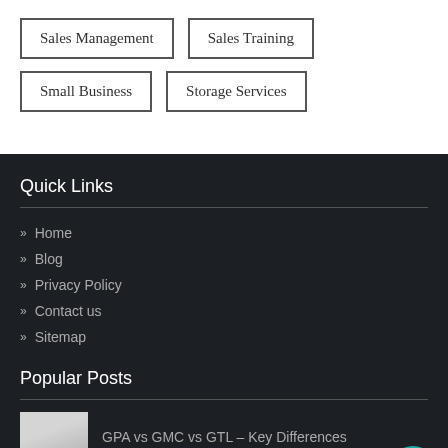Sales Management
Sales Training
Small Business
Storage Services
Quick Links
Home
Blog
Privacy Policy
Contact us
Sitemap
Popular Posts
GPA vs GMC vs GTL – Key Differences